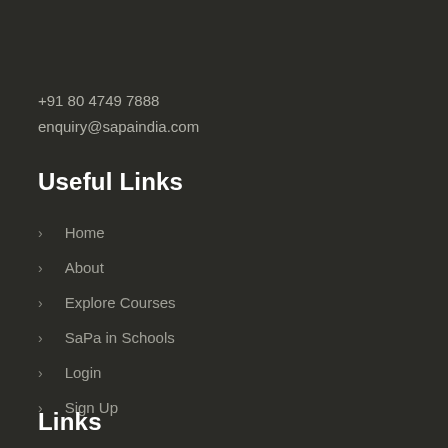+91 80 4749 7888
enquiry@sapaindia.com
Useful Links
Home
About
Explore Courses
SaPa in Schools
Login
Sign Up
Links